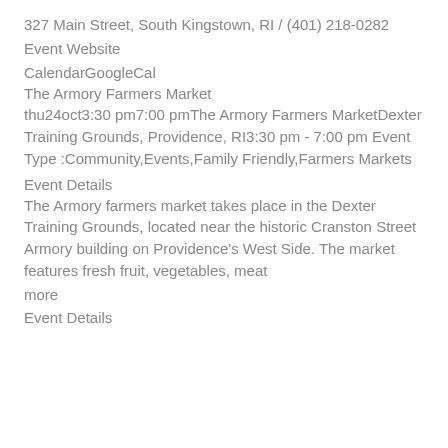327 Main Street, South Kingstown, RI / (401) 218-0282
Event Website
CalendarGoogleCal
The Armory Farmers Market
thu24oct3:30 pm7:00 pmThe Armory Farmers MarketDexter Training Grounds, Providence, RI3:30 pm - 7:00 pm Event Type :Community,Events,Family Friendly,Farmers Markets
Event Details
The Armory farmers market takes place in the Dexter Training Grounds, located near the historic Cranston Street Armory building on Providence's West Side. The market features fresh fruit, vegetables, meat
more
Event Details